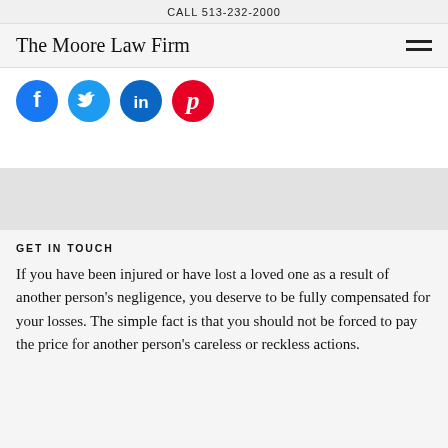CALL 513-232-2000
The Moore Law Firm
[Figure (illustration): Four social media icons in circles: Facebook (blue), Twitter (light blue), LinkedIn (dark blue), Pinterest (red)]
GET IN TOUCH
If you have been injured or have lost a loved one as a result of another person's negligence, you deserve to be fully compensated for your losses. The simple fact is that you should not be forced to pay the price for another person's careless or reckless actions.